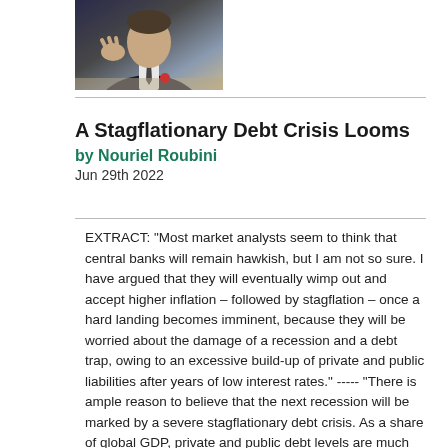[Figure (photo): Photo of a person in a suit gesturing with hands, seated at a table, partially cropped.]
A Stagflationary Debt Crisis Looms
by Nouriel Roubini
Jun 29th 2022
EXTRACT: "Most market analysts seem to think that central banks will remain hawkish, but I am not so sure. I have argued that they will eventually wimp out and accept higher inflation – followed by stagflation – once a hard landing becomes imminent, because they will be worried about the damage of a recession and a debt trap, owing to an excessive build-up of private and public liabilities after years of low interest rates." ----- "There is ample reason to believe that the next recession will be marked by a severe stagflationary debt crisis. As a share of global GDP, private and public debt levels are much higher today than in the past, having risen from 200% in 1999 to 350% today